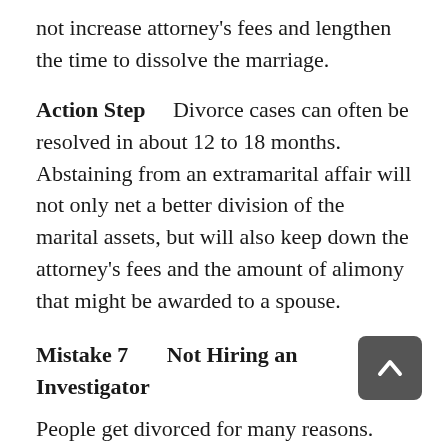not increase attorney's fees and lengthen the time to dissolve the marriage.
Action Step    Divorce cases can often be resolved in about 12 to 18 months. Abstaining from an extramarital affair will not only net a better division of the marital assets, but will also keep down the attorney's fees and the amount of alimony that might be awarded to a spouse.
Mistake 7    Not Hiring an Investigator
People get divorced for many reasons. The three most common reasons involve abuse (either mental or physical), financial factors, and third-party relationships (extramarital affairs). While a physician is working 12 hours...